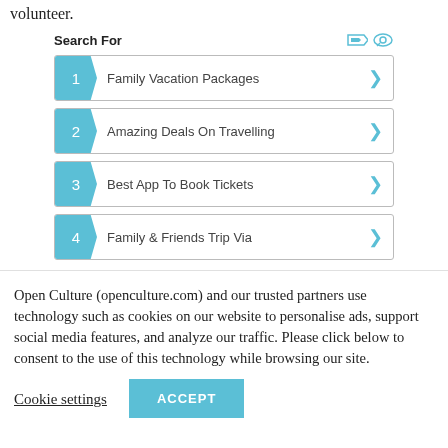volunteer.
[Figure (screenshot): Search For widget with 4 numbered list items: 1. Family Vacation Packages, 2. Amazing Deals On Travelling, 3. Best App To Book Tickets, 4. Family & Friends Trip Via. Each item has a teal numbered badge and a right-arrow chevron.]
Open Culture (openculture.com) and our trusted partners use technology such as cookies on our website to personalise ads, support social media features, and analyze our traffic. Please click below to consent to the use of this technology while browsing our site.
Cookie settings
ACCEPT